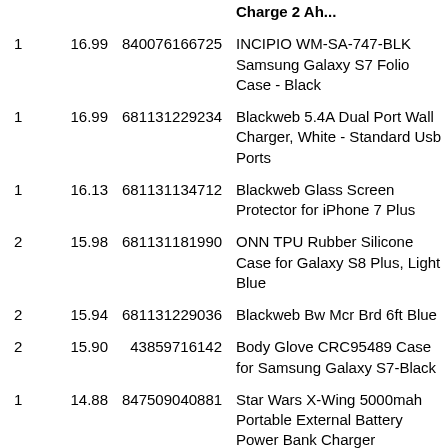| Qty | Price | UPC | Description |
| --- | --- | --- | --- |
|  |  |  | Charge 2 Ah... |
| 1 | 16.99 | 840076166725 | INCIPIO WM-SA-747-BLK Samsung Galaxy S7 Folio Case - Black |
| 1 | 16.99 | 681131229234 | Blackweb 5.4A Dual Port Wall Charger, White - Standard Usb Ports |
| 1 | 16.13 | 681131134712 | Blackweb Glass Screen Protector for iPhone 7 Plus |
| 2 | 15.98 | 681131181990 | ONN TPU Rubber Silicone Case for Galaxy S8 Plus, Light Blue |
| 2 | 15.94 | 681131229036 | Blackweb Bw Mcr Brd 6ft Blue |
| 2 | 15.90 | 43859716142 | Body Glove CRC95489 Case for Samsung Galaxy S7-Black |
| 1 | 14.88 | 847509040881 | Star Wars X-Wing 5000mah Portable External Battery Power Bank Charger |
|  |  |  | Custom Cases Star Wars |